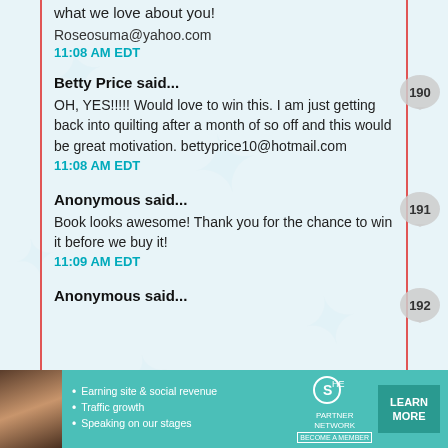what we love about you!
Roseosuma@yahoo.com
11:08 AM EDT
Betty Price said...
OH, YES!!!!! Would love to win this. I am just getting back into quilting after a month of so off and this would be great motivation. bettyprice10@hotmail.com
11:08 AM EDT
Anonymous said...
Book looks awesome! Thank you for the chance to win it before we buy it!
11:09 AM EDT
Anonymous said...
[Figure (infographic): SHE Partner Network advertisement banner with photo of woman, bullet points about earning site & social revenue, traffic growth, speaking on our stages, SHE logo, and Learn More button]